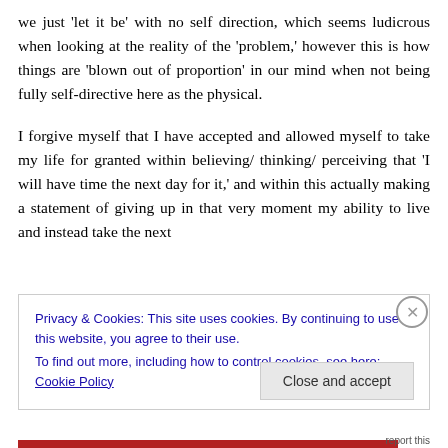we just 'let it be' with no self direction, which seems ludicrous when looking at the reality of the 'problem,' however this is how things are 'blown out of proportion' in our mind when not being fully self-directive here as the physical.

I forgive myself that I have accepted and allowed myself to take my life for granted within believing/ thinking/ perceiving that 'I will have time the next day for it,' and within this actually making a statement of giving up in that very moment my ability to live and instead take the next
Privacy & Cookies: This site uses cookies. By continuing to use this website, you agree to their use.
To find out more, including how to control cookies, see here: Cookie Policy